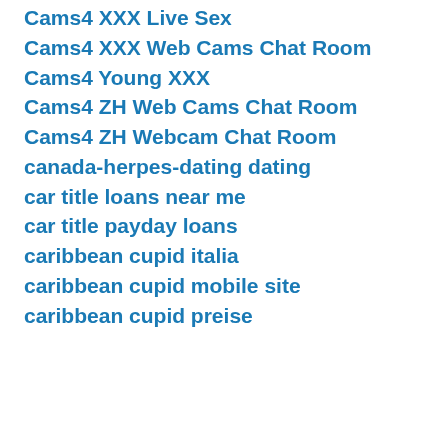Cams4 XXX Live Sex
Cams4 XXX Web Cams Chat Room
Cams4 Young XXX
Cams4 ZH Web Cams Chat Room
Cams4 ZH Webcam Chat Room
canada-herpes-dating dating
car title loans near me
car title payday loans
caribbean cupid italia
caribbean cupid mobile site
caribbean cupid preise